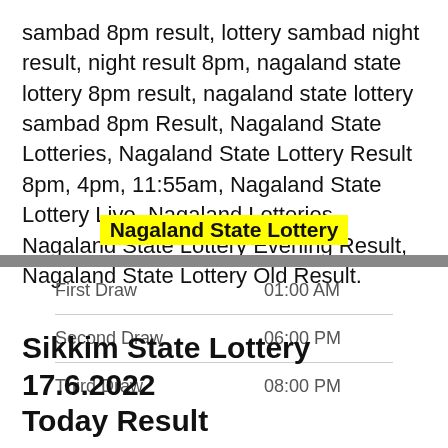sambad 8pm result, lottery sambad night result, night result 8pm, nagaland state lottery 8pm result, nagaland state lottery sambad 8pm Result, Nagaland State Lotteries, Nagaland State Lottery Result 8pm, 4pm, 11:55am, Nagaland State Lottery Live, Nagaland Lotteries, Nagaland State Lottery Evening Result, Nagaland State Lottery Old Result.
Nagaland State Lottery
| Draw | Time |
| --- | --- |
| First Draw | 01:00 AM |
| Second Draw | 06:00 PM |
| Third Draw | 08:00 PM |
Sikkim State Lottery 17.6.2022 Today Result